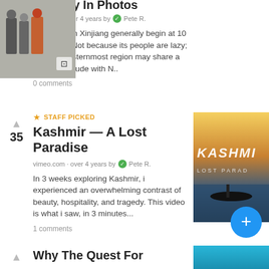journey in Photos (partial title)
time.com · over 4 years by Pete R.
Workdays in Xinjiang generally begin at 10 or 11 a.m. Not because its people are lazy; China's westernmost region may share a rough longitude with N..
0 comments
★ STAFF PICKED
Kashmir — A Lost Paradise
vimeo.com · over 4 years by Pete R.
In 3 weeks exploring Kashmir, i experienced an overwhelming contrast of beauty, hospitality, and tragedy. This video is what i saw, in 3 minutes...
1 comments
[Figure (photo): Kashmir - A Lost Paradise thumbnail with stylized text over water/boat scene]
Why The Quest For (partial)